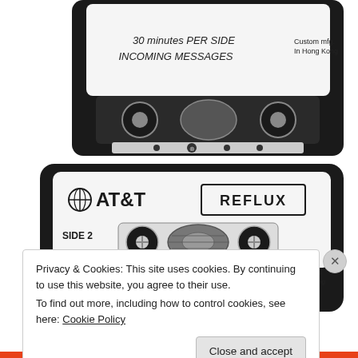[Figure (illustration): Illustration of the top portion of an AT&T answering machine cassette tape (black), labeled '30 minutes PER SIDE INCOMING MESSAGES' and 'Custom mfg. In Hong Kong']
[Figure (illustration): Illustration of an AT&T cassette tape labeled 'REFLUX', 'SIDE 2', '30 minutes PER SIDE INCOMING MESSAGES', 'Custom mfg. In Hong Kong']
Privacy & Cookies: This site uses cookies. By continuing to use this website, you agree to their use.
To find out more, including how to control cookies, see here: Cookie Policy